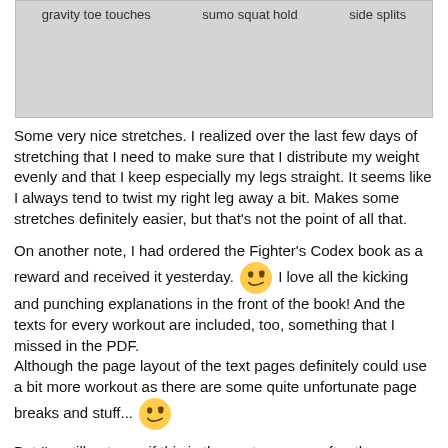[Figure (photo): Gray image area showing three exercise positions labeled: gravity toe touches, sumo squat hold, side splits]
Some very nice stretches. I realized over the last few days of stretching that I need to make sure that I distribute my weight evenly and that I keep especially my legs straight. It seems like I always tend to twist my right leg away a bit. Makes some stretches definitely easier, but that's not the point of all that.
On another note, I had ordered the Fighter's Codex book as a reward and received it yesterday. 😉 I love all the kicking and punching explanations in the front of the book! And the texts for every workout are included, too, something that I missed in the PDF.
Although the page layout of the text pages definitely could use a bit more workout as there are some quite unfortunate page breaks and stuff... 😉
But I'm still not sure if this is the next program after the Flexibility Week... there are just too many possiblities! 😁
Hopefully the work part of the day will pass quickly. Additionally, my mother-in-law is in surgery right now, so my mind is not completely here... hopefully, everything goes alright.